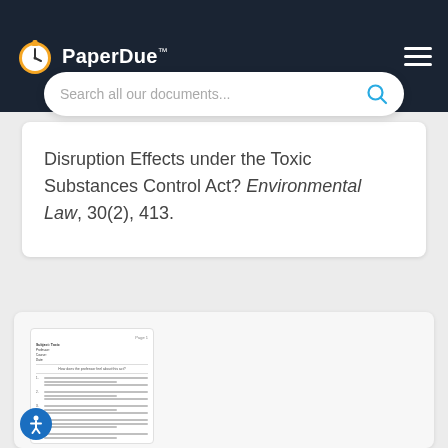[Figure (logo): PaperDue logo with clock icon and brand name]
Search all our documents...
Disruption Effects under the Toxic Substances Control Act? Environmental Law, 30(2), 413.
[Figure (screenshot): Thumbnail preview of a numbered list document page]